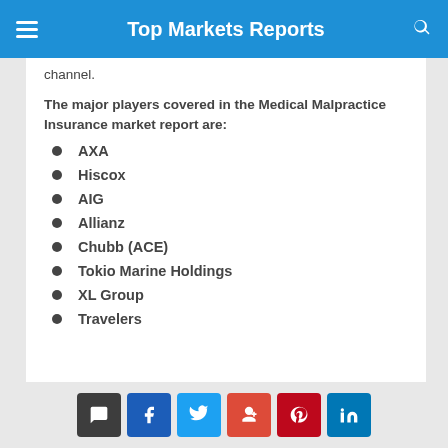Top Markets Reports
channel.
The major players covered in the Medical Malpractice Insurance market report are:
AXA
Hiscox
AIG
Allianz
Chubb (ACE)
Tokio Marine Holdings
XL Group
Travelers